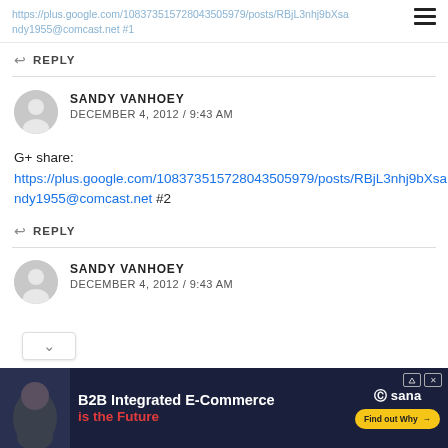https://plus.google.com/108373515728043505979/posts/RBjL3nhj9bXsandy1955@comcast.net #1
REPLY
SANDY VANHOEY
DECEMBER 4, 2012 / 9:43 AM
G+ share:
https://plus.google.com/108373515728043505979/posts/RBjL3nhj9bXsandy1955@comcast.net #2
REPLY
SANDY VANHOEY
DECEMBER 4, 2012 / 9:43 AM
[Figure (infographic): B2B Integrated E-Commerce advertisement banner for Sana Commerce with 'Find out Why' button]